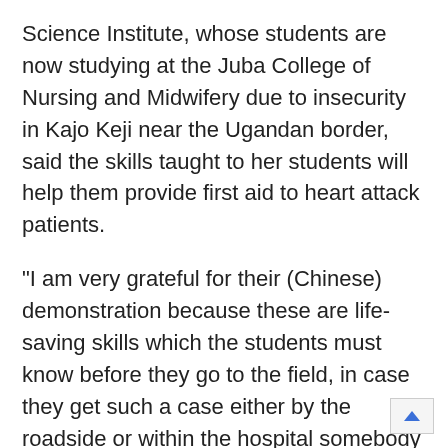Science Institute, whose students are now studying at the Juba College of Nursing and Midwifery due to insecurity in Kajo Keji near the Ugandan border, said the skills taught to her students will help them provide first aid to heart attack patients.
"I am very grateful for their (Chinese) demonstration because these are life-saving skills which the students must know before they go to the field, in case they get such a case either by the roadside or within the hospital somebody collapses they will have the potential of waking that patient up," said Grace.